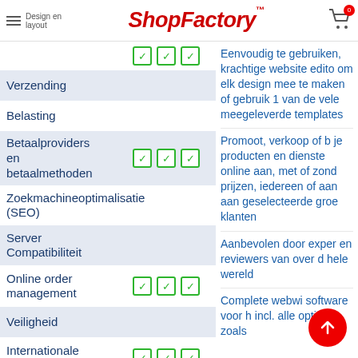ShopFactory™ — Design en layout (hamburger menu), cart icon
Design en layout — ☑ ☑ ☑
Verzending
Belasting
Betaalproviders en betaalmethoden — ☑ ☑ ☑
Zoekmachineoptimalisatie (SEO)
Server Compatibiliteit
Online order management — ☑ ☑ ☑
Veiligheid
Internationale functies — ☑ ☑ ☑
Koppelingen
Eenvoudig te gebruiken, krachtige website editor om elk design mee te maken of gebruik 1 van de vele meegeleverde templates
Promoot, verkoop of bied je producten en diensten online aan, met of zonder prijzen, iedereen of aan geselecteerde groepen klanten
Aanbevolen door experts en reviewers van over de hele wereld
Complete webwinkel software voor B2B incl. alle opties zoals